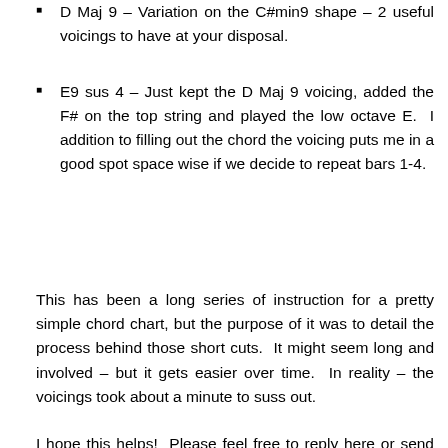D Maj 9 – Variation on the C#min9 shape – 2 useful voicings to have at your disposal.
E9 sus 4 – Just kept the D Maj 9 voicing, added the F# on the top string and played the low octave E. I addition to filling out the chord the voicing puts me in a good spot space wise if we decide to repeat bars 1-4.
This has been a long series of instruction for a pretty simple chord chart, but the purpose of it was to detail the process behind those short cuts. It might seem long and involved – but it gets easier over time. In reality – the voicings took about a minute to suss out.
I hope this helps! Please feel free to reply here or send an